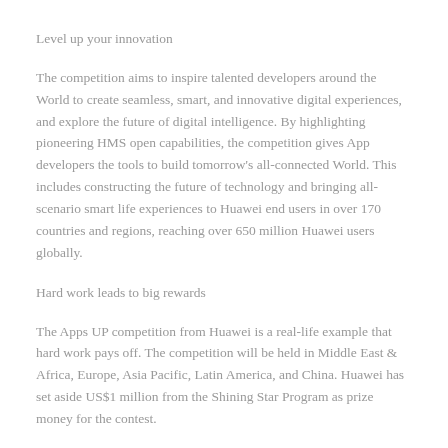Level up your innovation
The competition aims to inspire talented developers around the World to create seamless, smart, and innovative digital experiences, and explore the future of digital intelligence. By highlighting pioneering HMS open capabilities, the competition gives App developers the tools to build tomorrow’s all-connected World. This includes constructing the future of technology and bringing all-scenario smart life experiences to Huawei end users in over 170 countries and regions, reaching over 650 million Huawei users globally.
Hard work leads to big rewards
The Apps UP competition from Huawei is a real-life example that hard work pays off. The competition will be held in Middle East & Africa, Europe, Asia Pacific, Latin America, and China. Huawei has set aside US$1 million from the Shining Star Program as prize money for the contest.